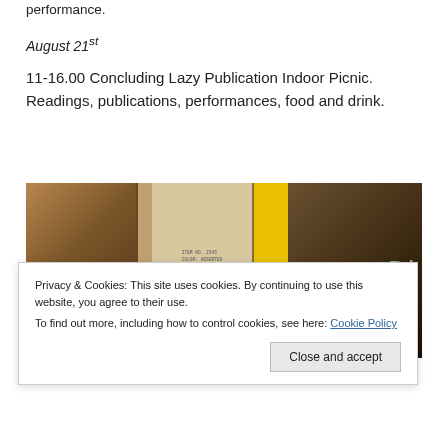performance.
August 21st
11-16.00 Concluding Lazy Publication Indoor Picnic. Readings, publications, performances, food and drink.
[Figure (photo): Indoor photo showing cardboard boxes and a bright yellow panel/board, appearing to be a storage or exhibition space.]
Privacy & Cookies: This site uses cookies. By continuing to use this website, you agree to their use.
To find out more, including how to control cookies, see here: Cookie Policy
Close and accept